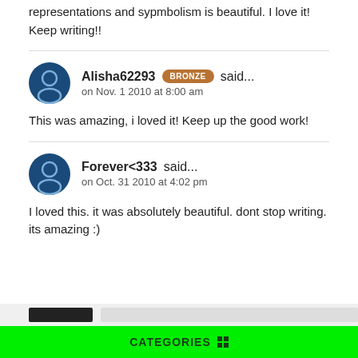representations and sypmbolism is beautiful. I love it! Keep writing!!
Alisha62293 BRONZE said...
on Nov. 1 2010 at 8:00 am
This was amazing, i loved it! Keep up the good work!
Forever<333 said...
on Oct. 31 2010 at 4:02 pm
I loved this. it was absolutely beautiful. dont stop writing. its amazing :)
CATEGORIES